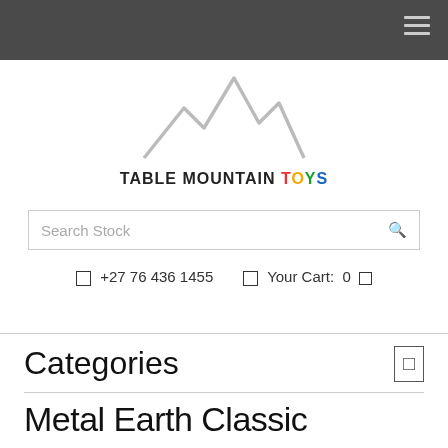[Figure (logo): Table Mountain Toys logo: mountain silhouette SVG above stylized brand name]
Search Stock
+27 76 436 1455   Your Cart: 0
Categories
Metal Earth Classic